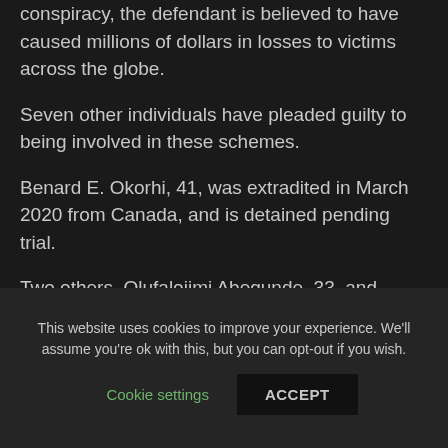conspiracy, the defendant is believed to have caused millions of dollars in losses to victims across the globe.
Seven other individuals have pleaded guilty to being involved in these schemes.
Benard E. Okorhi, 41, was extradited in March 2020 from Canada, and is detained pending trial.
Two others, Olufalojimi Abegunde, 33, and Javier Luis Ramos-Alonso, 30, were convicted in March
This website uses cookies to improve your experience. We'll assume you're ok with this, but you can opt-out if you wish.
Cookie settings
ACCEPT